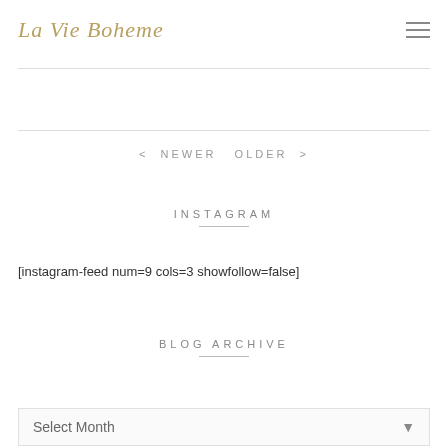La Vie Boheme
< NEWER  OLDER >
INSTAGRAM
[instagram-feed num=9 cols=3 showfollow=false]
BLOG ARCHIVE
Select Month